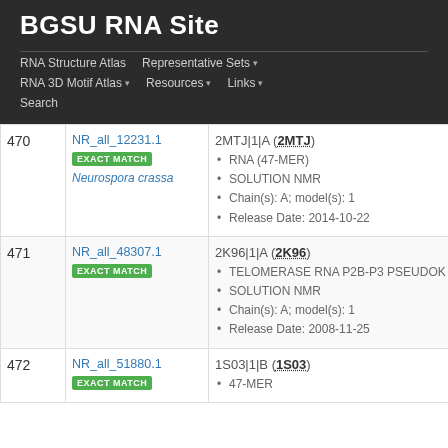BGSU RNA Site
RNA Structure Atlas | Representative Sets | RNA 3D Motif Atlas | Resources | Links | Search
| # | ID / Match | Structure Info |
| --- | --- | --- |
| 470 | NR_all_12231.1
EXACT MATCH
Neurospora crassa | 2MTJ|1|A (2MTJ)
• RNA (47-MER)
• SOLUTION NMR
• Chain(s): A; model(s): 1
• Release Date: 2014-10-22 |
| 471 | NR_all_48307.1
EXACT MATCH | 2K96|1|A (2K96)
• TELOMERASE RNA P2B-P3 PSEUDOK
• SOLUTION NMR
• Chain(s): A; model(s): 1
• Release Date: 2008-11-25 |
| 472 | NR_all_51880.1
EXACT MATCH | 1S03|1|B (1S03)
• 47-MER |